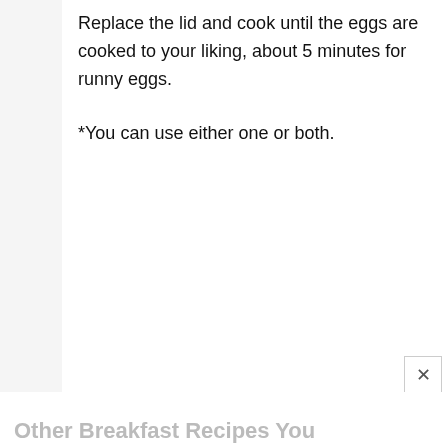Replace the lid and cook until the eggs are cooked to your liking, about 5 minutes for runny eggs.
*You can use either one or both.
Other Breakfast Recipes You